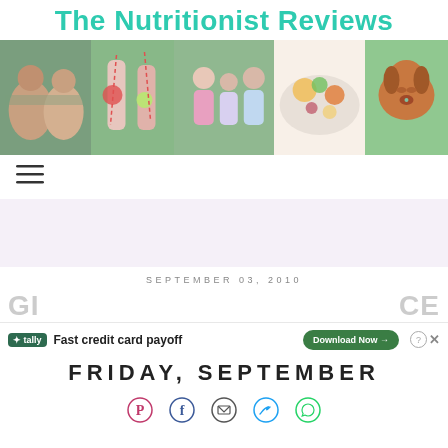The Nutritionist Reviews
[Figure (photo): Banner strip of 5 photos: couple outdoors, strawberry drinks, three children, food bowl, dachshund dog]
[Figure (other): Hamburger menu icon (three horizontal lines)]
SEPTEMBER 03, 2010
[Figure (other): Tally advertisement banner: Fast credit card payoff, Download Now button]
FRIDAY, SEPTEMBER
[Figure (other): Social sharing icons: Pinterest, Facebook, Email, Twitter, WhatsApp]